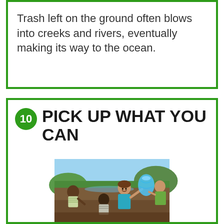Trash left on the ground often blows into creeks and rivers, eventually making its way to the ocean.
10 PICK UP WHAT YOU CAN
[Figure (photo): Children picking up trash outdoors near a body of water. A smiling girl in a teal shirt holds a blue plastic bag. Other children are bent over picking up items. Green trees and mountains visible in background.]